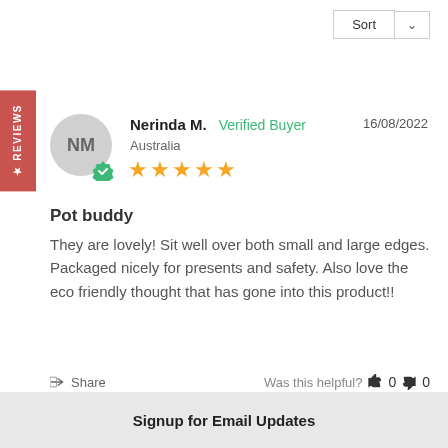Sort
★ REVIEWS
Nerinda M.   Verified Buyer   16/08/2022
Australia
★★★★★
Pot buddy
They are lovely! Sit well over both small and large edges. Packaged nicely for presents and safety. Also love the eco friendly thought that has gone into this product!!
Share   Was this helpful?  👍 0  👎 0
Signup for Email Updates